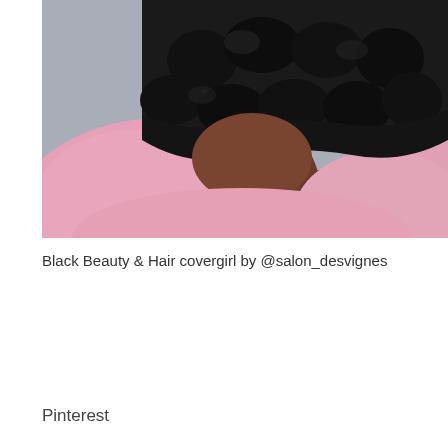[Figure (photo): Close-up photo of a person with dark skin wearing a pink top, with black curly/coiled hair visible at the top and back of the head. The background is a muted blue-grey. The image is cropped showing the neck and shoulders area with the hair prominently displayed.]
Black Beauty & Hair covergirl by @salon_desvignes
Pinterest